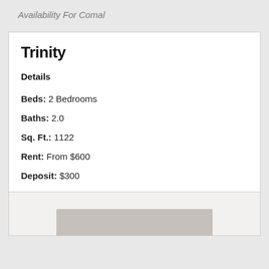Availability For Comal
Trinity
Details
Beds: 2 Bedrooms
Baths: 2.0
Sq. Ft.: 1122
Rent: From $600
Deposit: $300
[Figure (photo): Partial view of apartment/room interior photo at bottom of card]